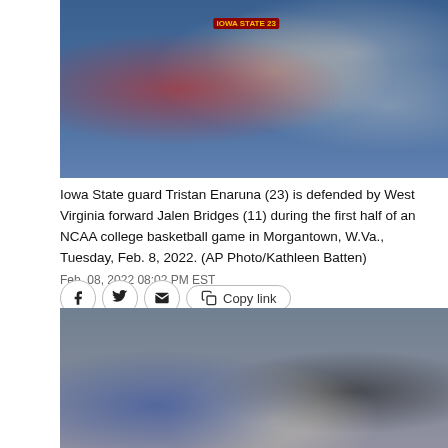[Figure (photo): Iowa State guard Tristan Enaruna wearing #23 in red uniform dribbling past West Virginia defender during NCAA basketball game]
Iowa State guard Tristan Enaruna (23) is defended by West Virginia forward Jalen Bridges (11) during the first half of an NCAA college basketball game in Morgantown, W.Va., Tuesday, Feb. 8, 2022. (AP Photo/Kathleen Batten)
Feb. 08, 2022 08:02 PM EST
[Figure (photo): Crowd of spectators at basketball game including people wearing masks in WVU colors]